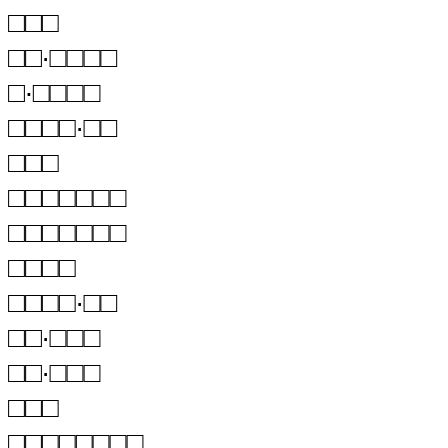□□□
□□·□□□□
□·□□□□
□□□□·□□
□□□
□□□□□□□
□□□□□□□
□□□□
□□□□·□□
□□·□□□
□□·□□□
□□□
□□□□□□□□
□□·□□□
□□□
□□□□
□□□